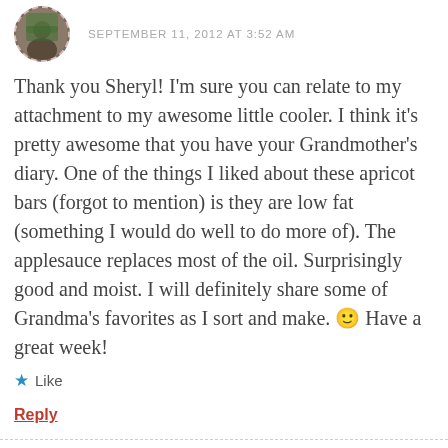SEPTEMBER 11, 2012 AT 3:52 AM
Thank you Sheryl! I'm sure you can relate to my attachment to my awesome little cooler. I think it's pretty awesome that you have your Grandmother's diary. One of the things I liked about these apricot bars (forgot to mention) is they are low fat (something I would do well to do more of). The applesauce replaces most of the oil. Surprisingly good and moist. I will definitely share some of Grandma's favorites as I sort and make. 🙂 Have a great week!
★ Like
Reply